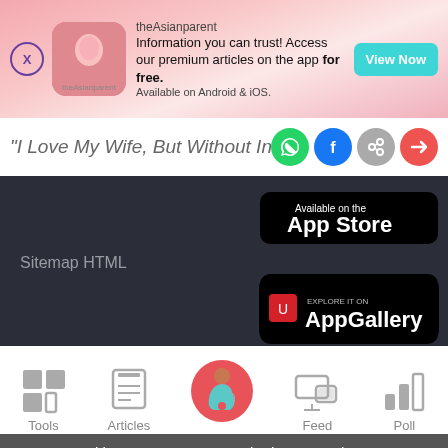[Figure (screenshot): theAsianparent app advertisement banner with logo, tagline, and View Now button]
"I Love My Wife, But Without Intimacy
[Figure (screenshot): App Store download button (black)]
Sitemap HTML
[Figure (screenshot): Explore it on AppGallery (Huawei) button]
[Figure (screenshot): Bottom navigation bar with Tools, Articles, Home, Feed, Poll icons]
We use cookies to ensure you get the best experience.
Learn More   Ok, Got it